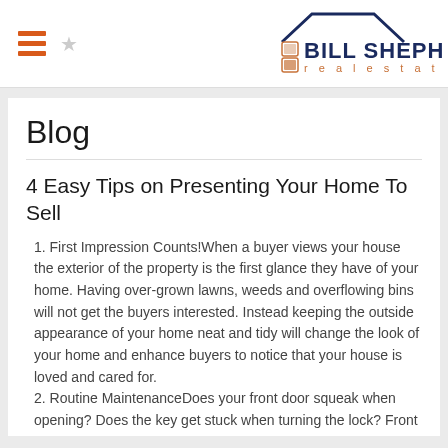[Figure (logo): Bill Shepherd Real Estate logo with house roofline graphic, orange/brown square icons, dark blue 'BILL SHEPHERD' text and orange 'real estate' text]
Blog
4 Easy Tips on Presenting Your Home To Sell
1. First Impression Counts! When a buyer views your house the exterior of the property is the first glance they have of your home. Having over-grown lawns, weeds and overflowing bins will not get the buyers interested. Instead keeping the outside appearance of your home neat and tidy will change the look of your home and enhance buyers to notice that your house is loved and cared for.
2. Routine Maintenance Does your front door squeak when opening? Does the key get stuck when turning the lock? Front gate not functioning well? These may sound like minor details but they will definitely get a prospective buyer...